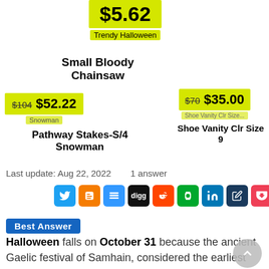[Figure (screenshot): Product listing: $5.62 price badge with 'Trendy Halloween' label below]
Small Bloody Chainsaw
[Figure (screenshot): Product listing: strikethrough $104 then $52.22 price badge; label Snowman partially visible]
[Figure (screenshot): Product listing: strikethrough $70 then $35.00 price badge; label partially visible]
Pathway Stakes-S/4 Snowman
Shoe Vanity Clr Size 9
Last update: Aug 22, 2022    1 answer
[Figure (screenshot): Row of social share icons: Twitter, Blogger, Delicious, Digg, Reddit, Evernote, LinkedIn, Pencil/edit, Pocket]
Best Answer
Halloween falls on October 31 because the ancient Gaelic festival of Samhain, considered the earliest known root of Halloween, occurred on this day,
This is also where Halloween gains its "haunted"